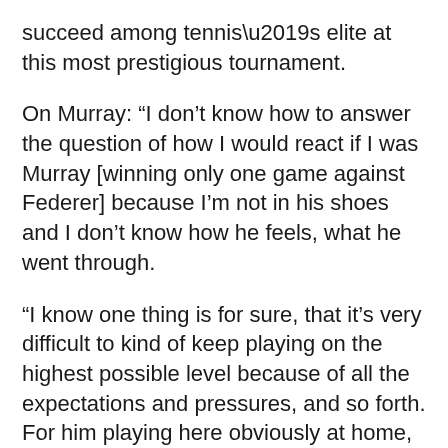succeed among tennis’s elite at this most prestigious tournament.
On Murray: “I don’t know how to answer the question of how I would react if I was Murray [winning only one game against Federer] because I’m not in his shoes and I don’t know how he feels, what he went through.
“I know one thing is for sure, that it’s very difficult to kind of keep playing on the highest possible level because of all the expectations and pressures, and so forth. For him playing here obviously at home, with the crowd support, it’s an additional pressure.”